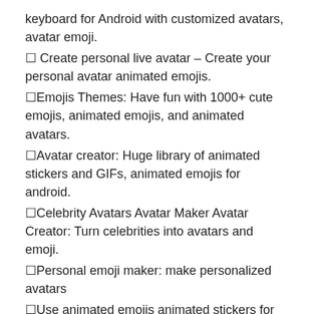keyboard for Android with customized avatars, avatar emoji.
🔵 Create personal live avatar – Create your personal avatar animated emojis.
🔵Emojis Themes: Have fun with 1000+ cute emojis, animated emojis, and animated avatars.
🔵Avatar creator: Huge library of animated stickers and GIFs, animated emojis for android.
🔵Celebrity Avatars Avatar Maker Avatar Creator: Turn celebrities into avatars and emoji.
🔵Personal emoji maker: make personalized avatars
🔵Use animated emojis animated stickers for the chat.
Personal Avatar Maker & avatar creator | Create your own character:
Face Avatar Maker Avatar Creator – Create your own avatar emoji avatar maker avatar creator
Create your own character: an animated avatar maker